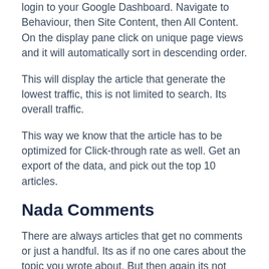login to your Google Dashboard. Navigate to Behaviour, then Site Content, then All Content. On the display pane click on unique page views and it will automatically sort in descending order.
This will display the article that generate the lowest traffic, this is not limited to search. Its overall traffic.
This way we know that the article has to be optimized for Click-through rate as well. Get an export of the data, and pick out the top 10 articles.
Nada Comments
There are always articles that get no comments or just a handful. Its as if no one cares about the topic you wrote about. But then again its not always the case. Sometimes we do not write strong enough call to actions that make a reader comment.
If you login to your dashboard, you will be able to filter out